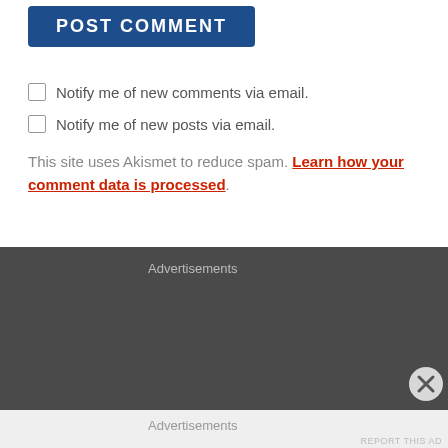[Figure (other): POST COMMENT button, dark blue rounded rectangle with white uppercase bold text]
Notify me of new comments via email.
Notify me of new posts via email.
This site uses Akismet to reduce spam. Learn how your comment data is processed.
Advertisements
Advertisements
REPORT THIS AD